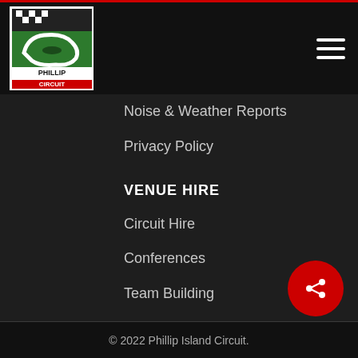[Figure (logo): Phillip Island Circuit logo with checkered flag and circuit map]
Noise & Weather Reports
Privacy Policy
VENUE HIRE
Circuit Hire
Conferences
Team Building
TRAVEL
Accommodation
How To Get Here
CONTACT
Contact Us
Careers
© 2022 Phillip Island Circuit.